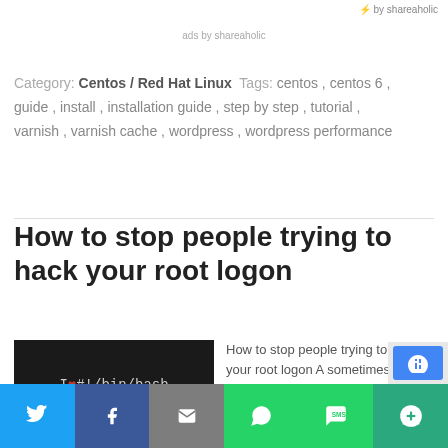by shareaholic
ads by shareaholic
Category: Centos / Red Hat Linux Tags: centos , centos 6 , guide , install , installation guide , step by step , tutorial , varnish , varnish cache , wordpress , wordpress performance
How to stop people trying to hack your root logon
[Figure (screenshot): Dark terminal-style image showing text 'I ♥ #!/bin/bash' with a red heart]
How to stop people trying to hack your root logon A sometimes neverending hassl…
[Figure (infographic): Social sharing bar with Twitter, Facebook, Email, WhatsApp, SMS, and More buttons]